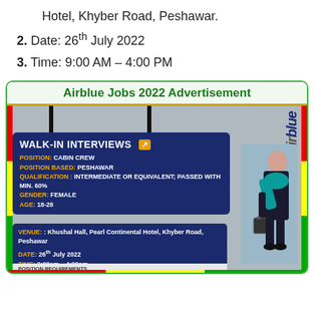Hotel, Khyber Road, Peshawar.
2. Date: 26th July 2022
3. Time: 9:00 AM – 4:00 PM
Airblue Jobs 2022 Advertisement
[Figure (infographic): Airblue Walk-in Interviews advertisement flyer showing job details for Cabin Crew position in Peshawar. Contains info board with position details, venue, date, time, requirements, and a photo of a female cabin crew member in uniform with the airblue logo.]